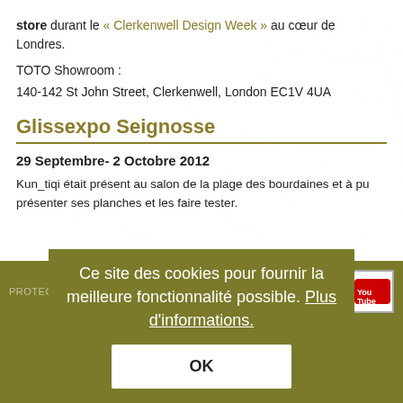store durant le « Clerkenwell Design Week » au cœur de Londres.
TOTO Showroom :
140-142 St John Street, Clerkenwell, London EC1V 4UA
Glissexpo Seignosse
29 Septembre- 2 Octobre 2012
Kun_tiqi était présent au salon de la plage des bourdaines et à pu présenter ses planches et les faire tester.
Ce site des cookies pour fournir la meilleure fonctionnalité possible. Plus d'informations.
OK